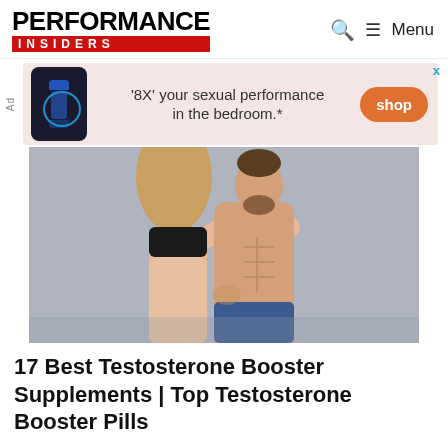PERFORMANCE INSIDERS
[Figure (infographic): Advertisement banner: supplement bottle image, text '8X' your sexual performance in the bedroom.*', orange 'shop' button. 'Ad' label on left. 'X' close button top right in cyan.]
[Figure (photo): Hero image of athletic couple embracing against grey background. Muscular shirtless man with beard, woman with long hair in sports bra.]
17 Best Testosterone Booster Supplements | Top Testosterone Booster Pills